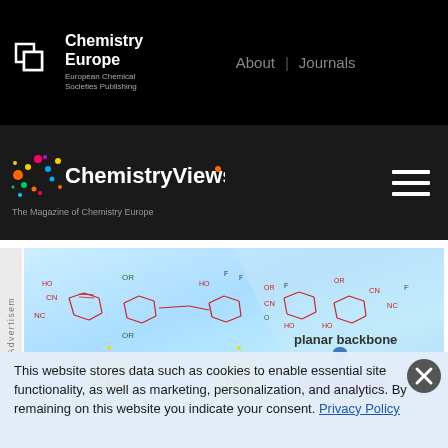Chemistry Europe | European Chemical Societies Publishing | About | Journals
[Figure (logo): ChemistryViews logo with colorful dots and text 'The Magazine of Chemistry Europe']
[Figure (illustration): Chemical structure diagram showing molecular structures with labels '<3%' and '>10%' and 'planar backbone' with sun burst icons and a layered device stack diagram]
This website stores data such as cookies to enable essential site functionality, as well as marketing, personalization, and analytics. By remaining on this website you indicate your consent. Privacy Policy